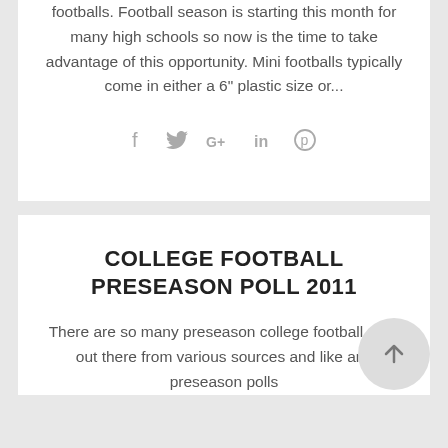footballs. Football season is starting this month for many high schools so now is the time to take advantage of this opportunity. Mini footballs typically come in either a 6" plastic size or...
[Figure (infographic): Social sharing icons: Facebook (f), Twitter (bird), Google+, LinkedIn (in), Pinterest (p)]
COLLEGE FOOTBALL PRESEASON POLL 2011
There are so many preseason college football polls out there from various sources and like any preseason polls